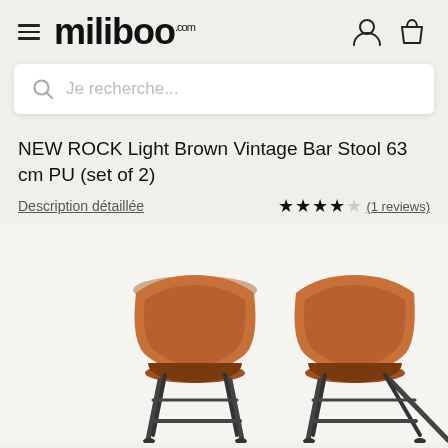miliboo.com
Je recherche...
NEW ROCK Light Brown Vintage Bar Stool 63 cm PU (set of 2)
Description détaillée
(1 reviews)
[Figure (photo): Two light brown vintage bar stools with PU leather seats and dark metal legs, viewed from a slightly elevated front angle against a light background.]